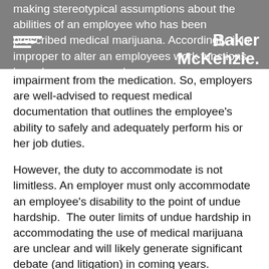[Figure (logo): Baker McKenzie logo with three horizontal white lines and white text on grey background]
making stereotypical assumptions about the abilities of an employee who has been prescribed medical marijuana. Accordingly, it is improper to alter an employees work functions based on an assumed impairment from the medication. So, employers are well-advised to request medical documentation that outlines the employee's ability to safely and adequately perform his or her job duties.
However, the duty to accommodate is not limitless. An employer must only accommodate an employee's disability to the point of undue hardship. The outer limits of undue hardship in accommodating the use of medical marijuana are unclear and will likely generate significant debate (and litigation) in coming years.
A key consideration in determining whether an accommodative measure would amount to undue hardship is occupational health and safety.